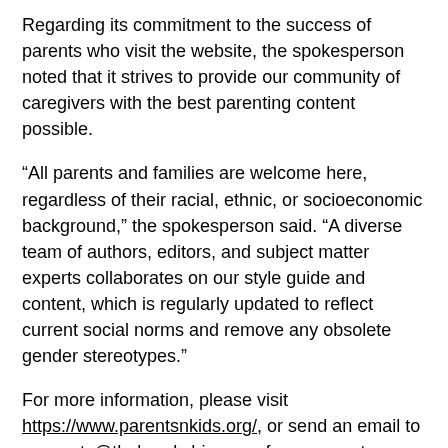Regarding its commitment to the success of parents who visit the website, the spokesperson noted that it strives to provide our community of caregivers with the best parenting content possible.
“All parents and families are welcome here, regardless of their racial, ethnic, or socioeconomic background,” the spokesperson said. “A diverse team of authors, editors, and subject matter experts collaborates on our style guide and content, which is regularly updated to reflect current social norms and remove any obsolete gender stereotypes.”
For more information, please visit https://www.parentsnkids.org/, or send an email to accounts@thebrookshire.com for comments, suggestions, or corrections to share.
About ParentsnKids.org
We present our readers with accurate, trustworthy, credible